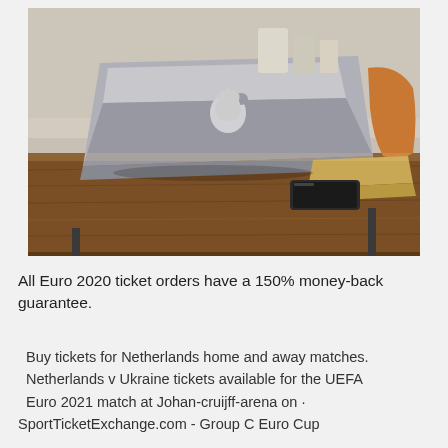[Figure (photo): A silver MacBook laptop open on a rustic wooden table, viewed from behind, with another laptop partially visible and a black smartphone lying on the table. Background shows a blurred kitchen or cafe setting.]
All Euro 2020 ticket orders have a 150% money-back guarantee.
Buy tickets for Netherlands home and away matches. Netherlands v Ukraine tickets available for the UEFA Euro 2021 match at Johan-cruijff-arena on · SportTicketExchange.com - Group C Euro Cup